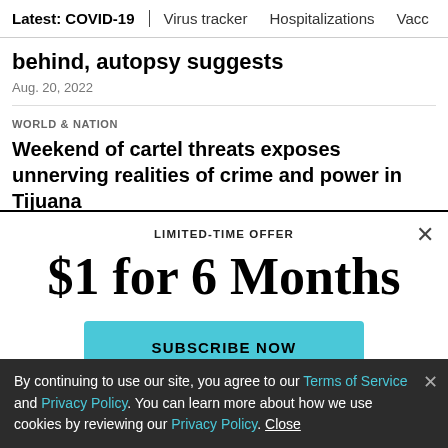Latest: COVID-19 | Virus tracker | Hospitalizations | Vacc...
behind, autopsy suggests
Aug. 20, 2022
WORLD & NATION
Weekend of cartel threats exposes unnerving realities of crime and power in Tijuana
LIMITED-TIME OFFER
$1 for 6 Months
SUBSCRIBE NOW
By continuing to use our site, you agree to our Terms of Service and Privacy Policy. You can learn more about how we use cookies by reviewing our Privacy Policy. Close